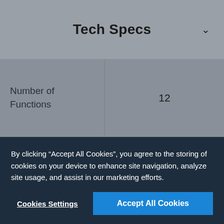Tech Specs
| Spec | Value |
| --- | --- |
| Number of Functions | 12 |
| Number of Top Cavity Functions | 12 Functions |
|  | Save time and |
By clicking “Accept All Cookies”, you agree to the storing of cookies on your device to enhance site navigation, analyze site usage, and assist in our marketing efforts.
Cookies Settings
Accept All Cookies